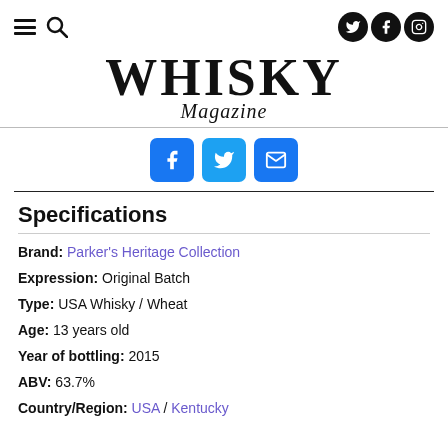Whisky Magazine navigation bar with hamburger menu, search icon, and social icons (Twitter, Facebook, Instagram)
WHISKY Magazine
[Figure (infographic): Share buttons: Facebook (blue), Twitter (light blue), Email (blue)]
Specifications
Brand: Parker's Heritage Collection
Expression: Original Batch
Type: USA Whisky / Wheat
Age: 13 years old
Year of bottling: 2015
ABV: 63.7%
Country/Region: USA / Kentucky